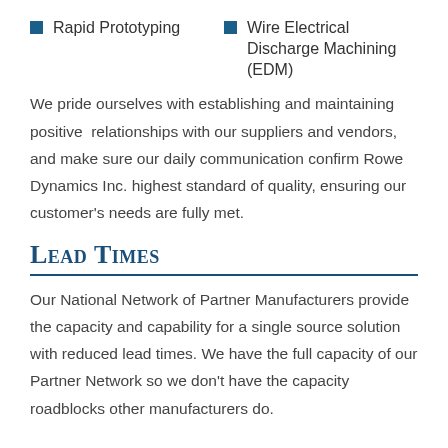Rapid Prototyping
Wire Electrical Discharge Machining (EDM)
We pride ourselves with establishing and maintaining positive  relationships with our suppliers and vendors, and make sure our daily communication confirm Rowe Dynamics Inc. highest standard of quality, ensuring our customer's needs are fully met.
Lead Times
Our National Network of Partner Manufacturers provide the capacity and capability for a single source solution with reduced lead times. We have the full capacity of our Partner Network so we don't have the capacity roadblocks other manufacturers do.